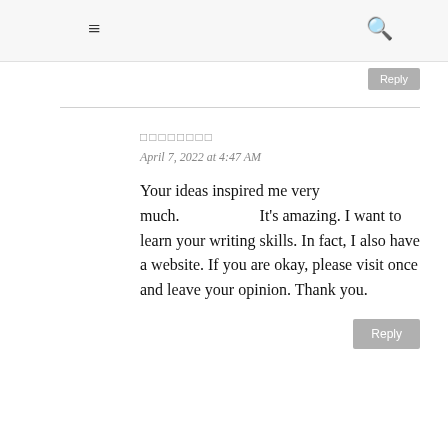☰  🔍
□□□□□□□□
April 7, 2022 at 4:47 AM
Your ideas inspired me very much.                    It's amazing. I want to learn your writing skills. In fact, I also have a website. If you are okay, please visit once and leave your opinion. Thank you.
Reply